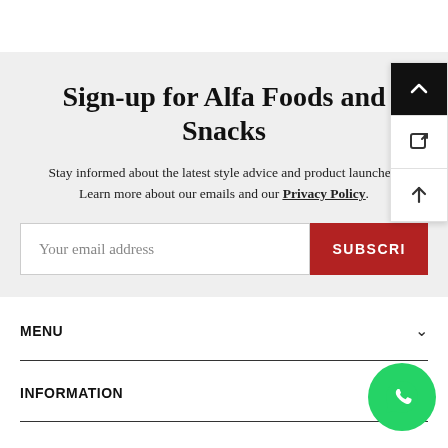Sign-up for Alfa Foods and Snacks
Stay informed about the latest style advice and product launches. Learn more about our emails and our Privacy Policy.
MENU
INFORMATION